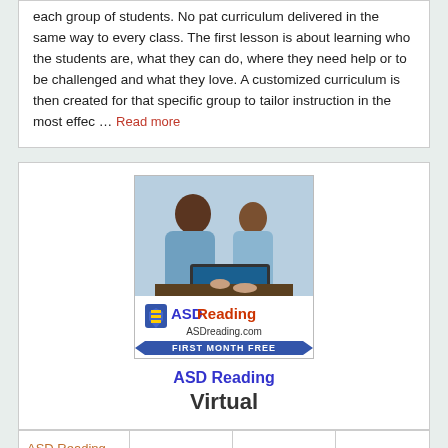each group of students. No pat curriculum delivered in the same way to every class. The first lesson is about learning who the students are, what they can do, where they need help or to be challenged and what they love. A customized curriculum is then created for that specific group to tailor instruction in the most effec … Read more
[Figure (advertisement): ASD Reading advertisement banner showing a woman and child at a laptop, with ASD Reading logo, ASDreading.com text, and FIRST MONTH FREE banner]
ASD Reading
Virtual
| ASD Reading |  |  |  |
|  |  |  |  |